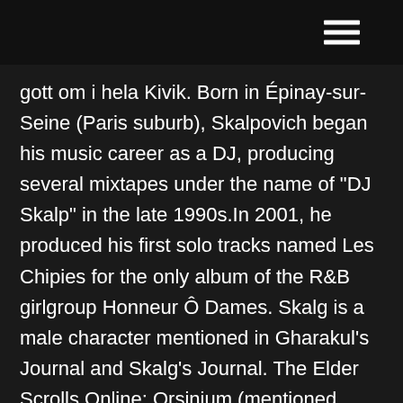gott om i hela Kivik. Born in Épinay-sur-Seine (Paris suburb), Skalpovich began his music career as a DJ, producing several mixtapes under the name of "DJ Skalp" in the late 1990s.In 2001, he produced his first solo tracks named Les Chipies for the only album of the R&B girlgroup Honneur Ô Dames. Skalg is a male character mentioned in Gharakul's Journal and Skalg's Journal. The Elder Scrolls Online: Orsinium (mentioned only) Skalk er eit populær namn på ein stiv, svart filthatt med rund pull og smal brem. På engelsk er hattetypen kjend som bowler, bob hat, billycock eller derby (USA). Han blei utbreidd på midten av 1800-talet, og skal ha blitt skapt i 1849. Skalbaggar (Coleoptera) är den artrikaste ordningen inom insekterna och hela djurriket.Det finns drygt 350 000 skalbaggsarter som är